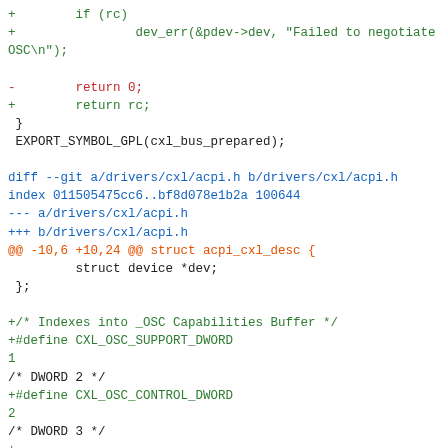[Figure (other): A git diff code block showing changes to Linux kernel CXL driver files, with colored diff syntax (+/- lines in green/red, @@ hunk headers in orange, and metadata in blue/dark)]